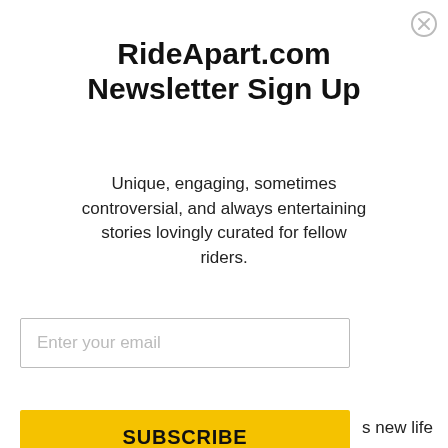[Figure (other): Close button (X in circle) in top-right corner of modal dialog]
RideApart.com Newsletter Sign Up
Unique, engaging, sometimes controversial, and always entertaining stories lovingly curated for fellow riders.
Enter your email (input field placeholder)
SUBSCRIBE (button)
s new life now, ation tomorrow,
Yes! I would like to receive, by email, updates, news, and special offers from RideApart, a Motorsport Network company.
journalists who his visit to police nd she didn't want